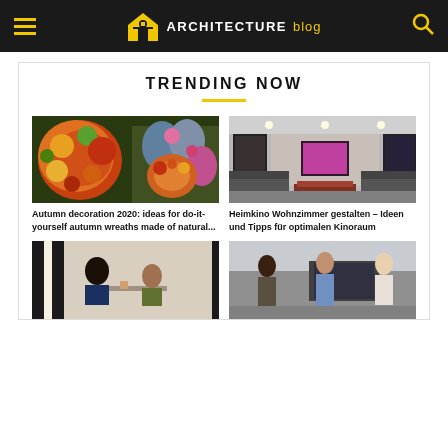ARCHITECTURE blog
TRENDING NOW
[Figure (photo): Autumn floral wreaths with colorful fall leaves and flowers]
Autumn decoration 2020: ideas for do-it-yourself autumn wreaths made of natural...
[Figure (photo): Modern home cinema living room with framed artwork and low seating]
Heimkino Wohnzimmer gestalten – Ideen und Tipps für optimalen Kinoraum
[Figure (photo): Two people sitting at a cafe table near a window]
[Figure (photo): Three women in street fashion walking outdoors]